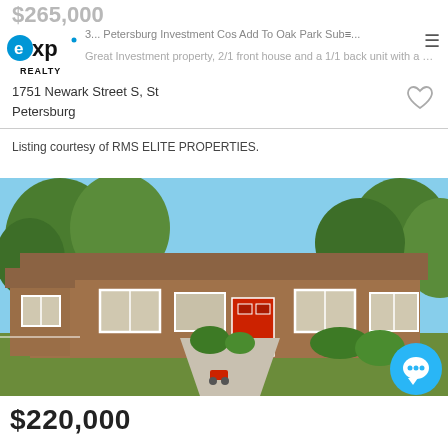$265,000
[Figure (logo): eXp Realty logo — blue and black text]
3... Petersburg Investment Cos Add To Oak Park Sub...
Great Investment property, 2/1 front house and a 1/1 back unit with a detache...
1751 Newark Street S, St Petersburg
Listing courtesy of RMS ELITE PROPERTIES.
[Figure (photo): Exterior photo of a single-story brown/tan house with a red front door, white-framed windows, and trees in the background.]
$220,000